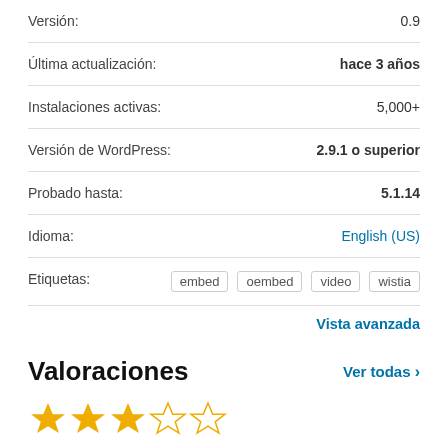| Campo | Valor |
| --- | --- |
| Versión: | 0.9 |
| Última actualización: | hace 3 años |
| Instalaciones activas: | 5,000+ |
| Versión de WordPress: | 2.9.1 o superior |
| Probado hasta: | 5.1.14 |
| Idioma: | English (US) |
| Etiquetas: | embed  oembed  video  wistia |
Vista avanzada
Valoraciones
Ver todas >
[Figure (other): 3-star rating displayed with 3 filled gold stars and 2 empty stars]
5 estrellas   [bar]   2